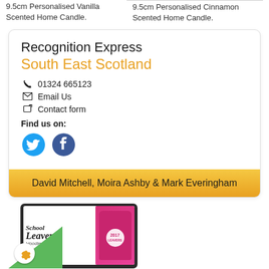9.5cm Personalised Vanilla Scented Home Candle.
9.5cm Personalised Cinnamon Scented Home Candle.
Recognition Express
South East Scotland
01324 665123
Email Us
Contact form
Find us on:
David Mitchell, Moira Ashby & Mark Everingham
[Figure (screenshot): Screenshot of School Leavers' Hoodies & Gifts webpage showing a pink hoodie]